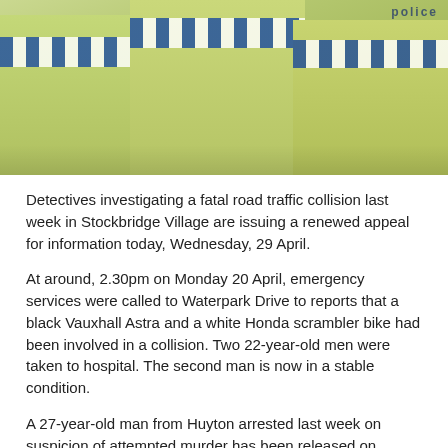[Figure (photo): Police officers in yellow high-visibility jackets with blue and white checkered bands, viewed from behind/side]
Detectives investigating a fatal road traffic collision last week in Stockbridge Village are issuing a renewed appeal for information today, Wednesday, 29 April.
At around, 2.30pm on Monday 20 April, emergency services were called to Waterpark Drive to reports that a black Vauxhall Astra and a white Honda scrambler bike had been involved in a collision. Two 22-year-old men were taken to hospital. The second man is now in a stable condition.
A 27-year-old man from Huyton arrested last week on suspicion of attempted murder has been released on conditional bail pending further enquiries.